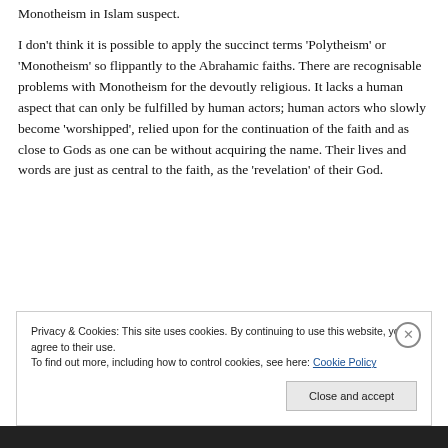Monotheism in Islam suspect.
I don't think it is possible to apply the succinct terms 'Polytheism' or 'Monotheism' so flippantly to the Abrahamic faiths. There are recognisable problems with Monotheism for the devoutly religious. It lacks a human aspect that can only be fulfilled by human actors; human actors who slowly become 'worshipped', relied upon for the continuation of the faith and as close to Gods as one can be without acquiring the name. Their lives and words are just as central to the faith, as the 'revelation' of their God.
Privacy & Cookies: This site uses cookies. By continuing to use this website, you agree to their use. To find out more, including how to control cookies, see here: Cookie Policy
Close and accept